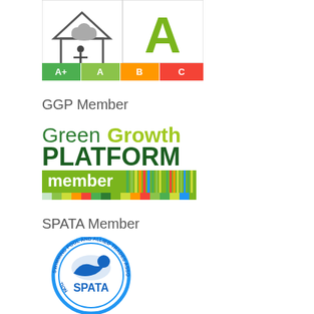[Figure (logo): Energy efficiency rating badge showing a house icon with people and cloud on left, large letter A in green on right, with color-coded ratings A+ A B C below]
GGP Member
[Figure (logo): GreenGrowth Platform member logo with green and yellow-green text and colorful vertical bar pattern at bottom]
SPATA Member
[Figure (logo): SPATA Swimming Pool and Allied Trades Association circular badge logo in blue with swimmer icon and SPATA text]